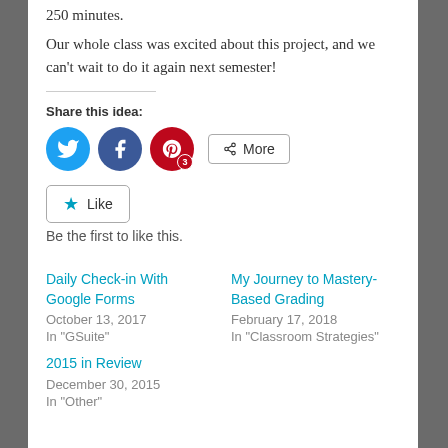250 minutes.
Our whole class was excited about this project, and we can't wait to do it again next semester!
Share this idea:
[Figure (infographic): Social sharing buttons: Twitter (blue circle), Facebook (blue circle), Pinterest (red circle with badge '3'), and a More button]
[Figure (infographic): Like button with star icon]
Be the first to like this.
Daily Check-in With Google Forms
October 13, 2017
In "GSuite"
My Journey to Mastery-Based Grading
February 17, 2018
In "Classroom Strategies"
2015 in Review
December 30, 2015
In "Other"